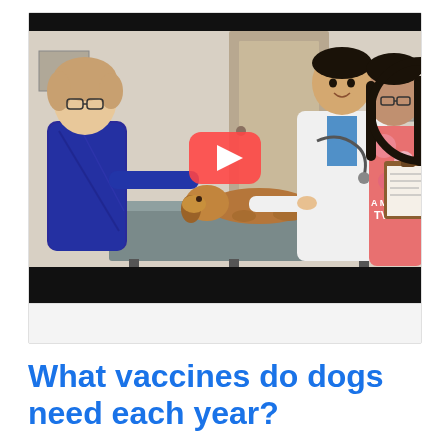[Figure (photo): A YouTube video thumbnail showing a veterinary clinic scene: a woman in a blue patterned top holds a small brown dog on a stainless steel exam table, a male veterinarian in a white coat with stethoscope speaks to her, and a female assistant in colorful scrubs holds a clipboard. A red YouTube play button overlay is centered on the image.]
What vaccines do dogs need each year?